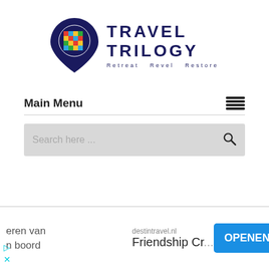[Figure (logo): Travel Trilogy logo: a dark navy map pin shape containing a colorful geometric globe/cross pattern in red, yellow, green, blue. To the right: 'TRAVEL TRILOGY' in bold navy uppercase letters, with tagline 'Retreat Revel Restore' below in smaller spaced navy text.]
Main Menu
[Figure (other): Hamburger menu icon: three horizontal black lines]
[Figure (other): Search bar with placeholder text 'Search here ...' and a magnifying glass icon on the right, on a light grey background]
eren van
n boord
destin travel.nl
Friendship Cr...
OPENEN